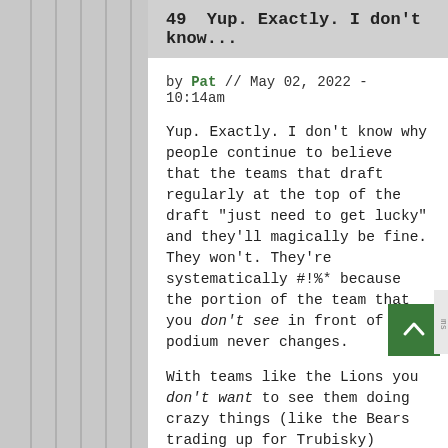49  Yup. Exactly. I don't know...
by Pat // May 02, 2022 - 10:14am
Yup. Exactly. I don't know why people continue to believe that the teams that draft regularly at the top of the draft "just need to get lucky" and they'll magically be fine. They won't. They're systematically #!%* because the portion of the team that you don't see in front of the podium never changes.
With teams like the Lions you don't want to see them doing crazy things (like the Bears trading up for Trubisky) because